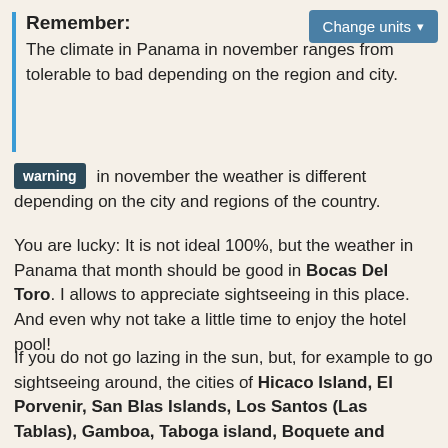Remember:
The climate in Panama in november ranges from tolerable to bad depending on the region and city.
warning in november the weather is different depending on the city and regions of the country.
You are lucky: It is not ideal 100%, but the weather in Panama that month should be good in Bocas Del Toro. I allows to appreciate sightseeing in this place. And even why not take a little time to enjoy the hotel pool!
If you do not go lazing in the sun, but, for example to go sightseeing around, the cities of Hicaco Island, El Porvenir, San Blas Islands, Los Santos (Las Tablas), Gamboa, Taboga island, Boquete and Panama City have a ok but correct weather for this kind of activity in